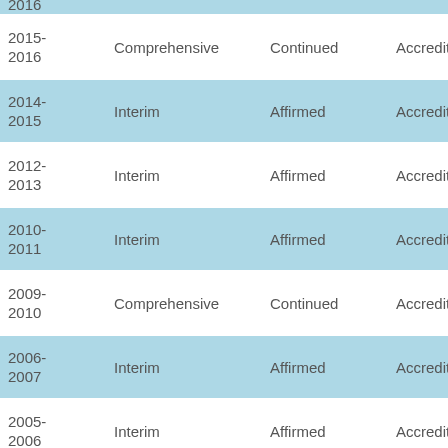| Year | Type | Action | Status |
| --- | --- | --- | --- |
| 2016 (partial) |  |  |  |
| 2015-2016 | Comprehensive | Continued | Accredited |
| 2014-2015 | Interim | Affirmed | Accredited |
| 2012-2013 | Interim | Affirmed | Accredited |
| 2010-2011 | Interim | Affirmed | Accredited |
| 2009-2010 | Comprehensive | Continued | Accredited |
| 2006-2007 | Interim | Affirmed | Accredited |
| 2005-2006 | Interim | Affirmed | Accredited |
| 2004-2005 | Interim | Affirmed | Accredited |
| 2003- (partial) |  |  |  |